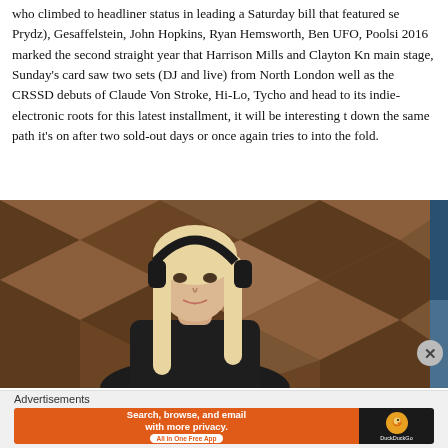who climbed to headliner status in leading a Saturday bill that featured se Prydz), Gesaffelstein, John Hopkins, Ryan Hemsworth, Ben UFO, Poolsi 2016 marked the second straight year that Harrison Mills and Clayton Kn main stage, Sunday's card saw two sets (DJ and live) from North London well as the CRSSD debuts of Claude Von Stroke, Hi-Lo, Tycho and head to its indie-electronic roots for this latest installment, it will be interesting t down the same path it's on after two sold-out days or once again tries to into the fold.
[Figure (photo): A woman with long blonde hair wearing black over-ear headphones, looking at the camera. She is wearing a dark sleeveless top. The background is a geometric pattern of dark wood panels arranged in a diamond/herringbone pattern. A partial second image is visible on the right edge.]
Advertisements
[Figure (screenshot): DuckDuckGo advertisement banner with orange background. Text reads: 'Search, browse, and email with more privacy.' with subtitle 'All in One Free App'. Right side shows DuckDuckGo logo (orange circle with duck icon) on dark background with 'DuckDuckGo' text.]